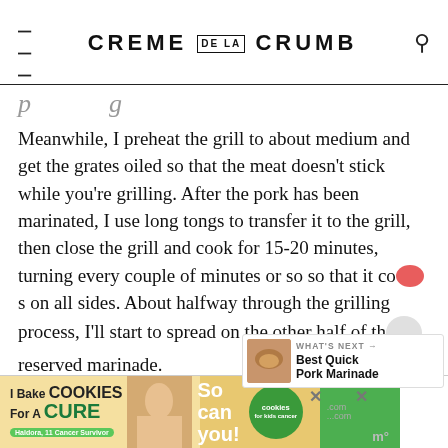CREME DE LA CRUMB
Meanwhile, I preheat the grill to about medium and get the grates oiled so that the meat doesn't stick while you're grilling. After the pork has been marinated, I use long tongs to transfer it to the grill, then close the grill and cook for 15-20 minutes, turning every couple of minutes or so so that it cooks on all sides. About halfway through the grilling process, I'll start to spread on the other half of the reserved marinade.
When it's done grilling or the internal temperature of the
[Figure (infographic): Advertisement banner: I Bake COOKIES For A CURE with person and green badge saying So can you! with cookies for kids cancer logo and close buttons]